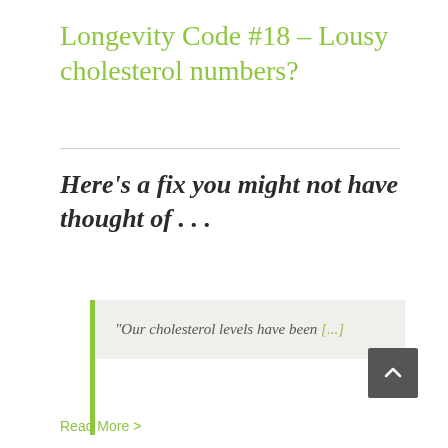Longevity Code #18 – Lousy cholesterol numbers?
Here's a fix you might not have thought of . . .
"Our cholesterol levels have been [...]"
Read More >